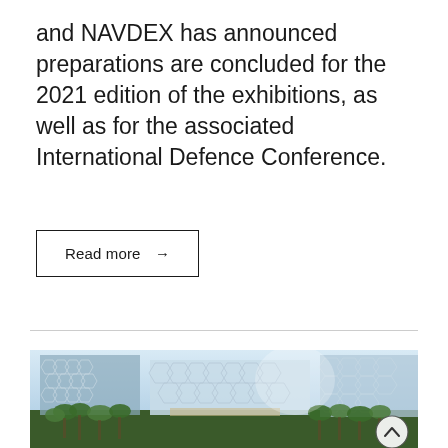and NAVDEX has announced preparations are concluded for the 2021 edition of the exhibitions, as well as for the associated International Defence Conference.
Read more →
[Figure (photo): Exterior view of a modern exhibition or convention center building with a distinctive honeycomb/lattice glass facade, surrounded by palm trees and tropical vegetation. A scroll-to-top button with an upward chevron is overlaid in the bottom-right corner.]